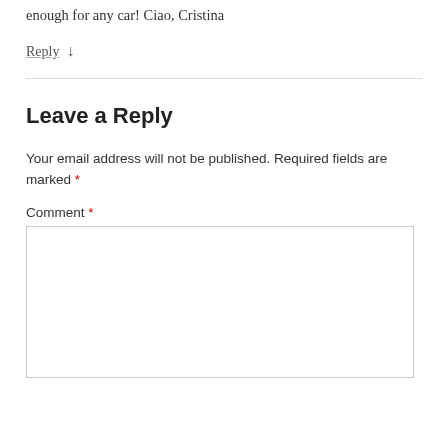enough for any car! Ciao, Cristina
Reply ↓
Leave a Reply
Your email address will not be published. Required fields are marked *
Comment *